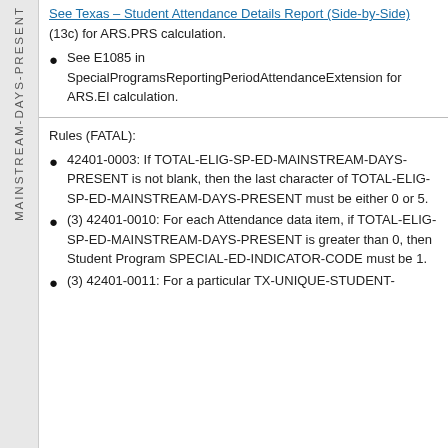See Texas – Student Attendance Details Report (Side-by-Side) (13c) for ARS.PRS calculation.
See E1085 in SpecialProgramsReportingPeriodAttendanceExtension for ARS.EI calculation.
Rules (FATAL):
42401-0003: If TOTAL-ELIG-SP-ED-MAINSTREAM-DAYS-PRESENT is not blank, then the last character of TOTAL-ELIG-SP-ED-MAINSTREAM-DAYS-PRESENT must be either 0 or 5.
(3) 42401-0010: For each Attendance data item, if TOTAL-ELIG-SP-ED-MAINSTREAM-DAYS-PRESENT is greater than 0, then Student Program SPECIAL-ED-INDICATOR-CODE must be 1.
(3) 42401-0011: For a particular TX-UNIQUE-STUDENT-